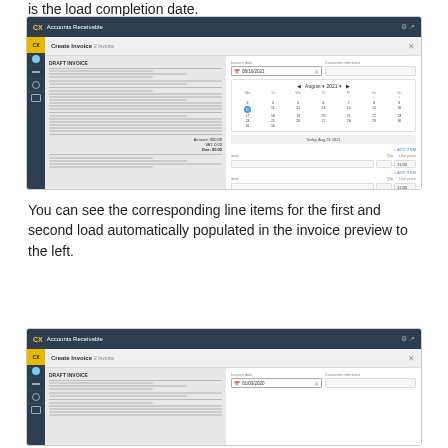is the load completion date.
[Figure (screenshot): Screenshot of Accounts Receivable Create Invoice screen showing a draft invoice preview on the left and a calendar date picker showing August 2021 on the right, with invoice date input and calendar control.]
You can see the corresponding line items for the first and second load automatically populated in the invoice preview to the left.
[Figure (screenshot): Screenshot of Accounts Receivable Create Invoice screen showing a draft invoice preview on the left and an invoice date field on the right.]